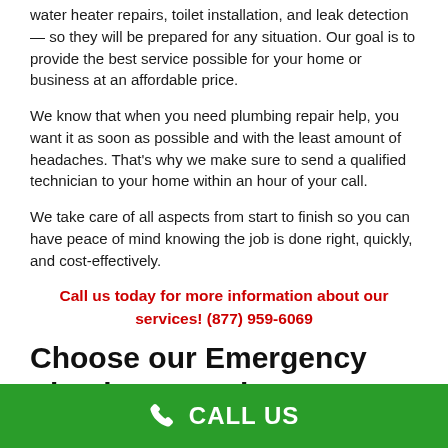water heater repairs, toilet installation, and leak detection — so they will be prepared for any situation. Our goal is to provide the best service possible for your home or business at an affordable price.
We know that when you need plumbing repair help, you want it as soon as possible and with the least amount of headaches. That's why we make sure to send a qualified technician to your home within an hour of your call.
We take care of all aspects from start to finish so you can have peace of mind knowing the job is done right, quickly, and cost-effectively.
Call us today for more information about our services! (877) 959-6069
Choose our Emergency Plumber Reseda CA Contractor
CALL US